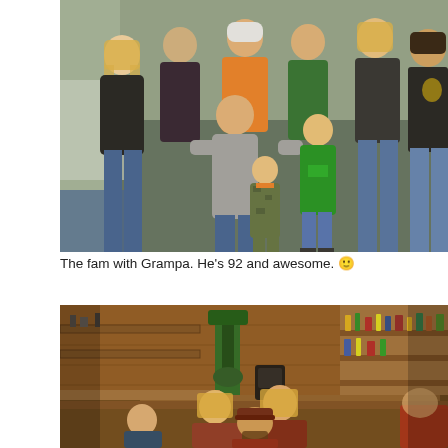[Figure (photo): Family group photo with Grampa. Multiple adults and two young children posing together indoors. Adults wearing casual clothing in various colors including green, orange, black, gray. Children in green hoodies and camo. Warm indoor lighting.]
The fam with Grampa. He's 92 and awesome. 🙂
[Figure (photo): Several people gathered in a workshop or garage setting. Wood-paneled walls with shelves full of tools, bottles, and equipment. A drill press visible. People sitting and standing, including a man with a beard and cap and two blonde women.]